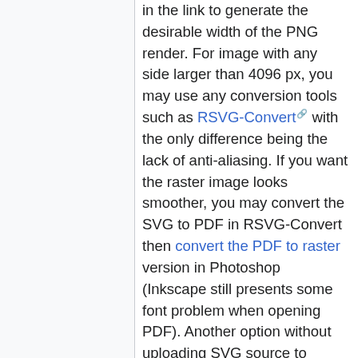in the link to generate the desirable width of the PNG render. For image with any side larger than 4096 px, you may use any conversion tools such as RSVG-Convert with the only difference being the lack of anti-aliasing. If you want the raster image looks smoother, you may convert the SVG to PDF in RSVG-Convert then convert the PDF to raster version in Photoshop (Inkscape still presents some font problem when opening PDF). Another option without uploading SVG source to Wikimedia (due to non-free license) is to use the SVG preview on Wikimedia Toolforge which does not have the maximum side cap, although certain rendering results such as font may differ slightly.